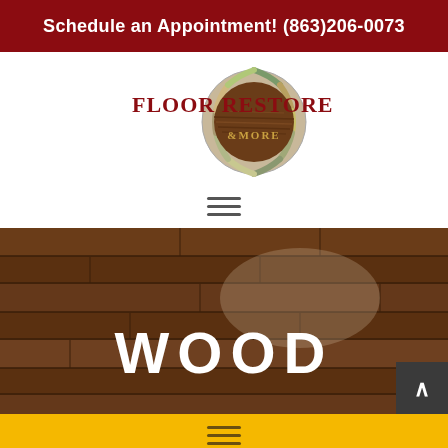Schedule an Appointment! (863)206-0073
[Figure (logo): Floor Restore & More logo — circular emblem with tile mosaic border and wood floor center, with 'FLOOR RESTORE & MORE' text]
[Figure (other): Hamburger menu icon (three horizontal lines)]
[Figure (photo): Dark hardwood floor photo with glossy finish and light reflection]
WOOD
[Figure (other): Hamburger menu icon (three horizontal lines) on yellow background]